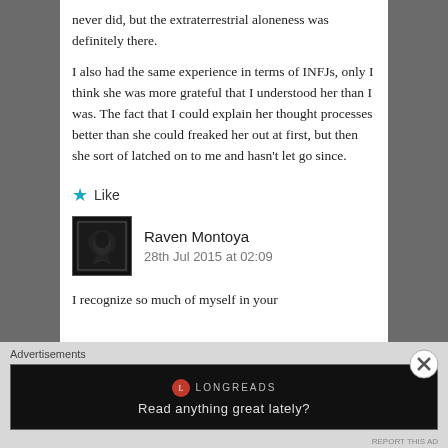never did, but the extraterrestrial aloneness was definitely there.
I also had the same experience in terms of INFJs, only I think she was more grateful that I understood her than I was. The fact that I could explain her thought processes better than she could freaked her out at first, but then she sort of latched on to me and hasn't let go since.
★ Like
Raven Montoya
28th Jul 2015 at 02:09
I recognize so much of myself in your
Advertisements
[Figure (screenshot): Longreads advertisement: black box with Longreads logo and text 'Read anything great lately?']